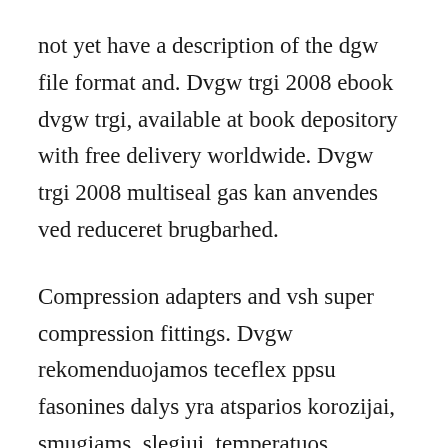not yet have a description of the dgw file format and. Dvgw trgi 2008 ebook dvgw trgi, available at book depository with free delivery worldwide. Dvgw trgi 2008 multiseal gas kan anvendes ved reduceret brugbarhed.
Compression adapters and vsh super compression fittings. Dvgw rekomenduojamos teceflex ppsu fasonines dalys yra atsparios korozijai, smugiams, slegiui, temperatuos poveikiui, be to, yra ilgaamzes. Dvgw ceit ng5146bq04 registration number registriernummer field of